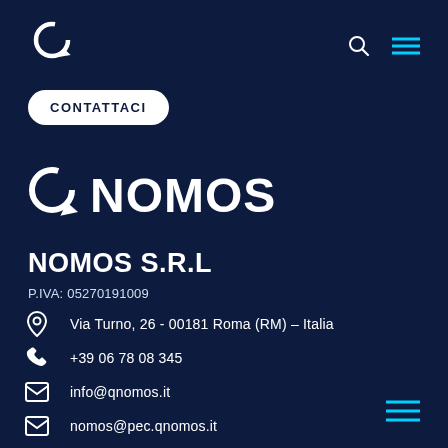[Figure (logo): QNomos circular arrow logo (small, white) in top left header]
[Figure (logo): Search icon and hamburger menu icon in top right header, cyan colored]
CONTATTACI
[Figure (logo): QNomos large logo: circular arrow icon followed by text NOMOS in bold white]
NOMOS S.R.L
P.IVA: 05270191009
Via Turno, 26 - 00181 Roma (RM) – Italia
+39 06 78 08 345
info@qnomos.it
nomos@pec.qnomos.it